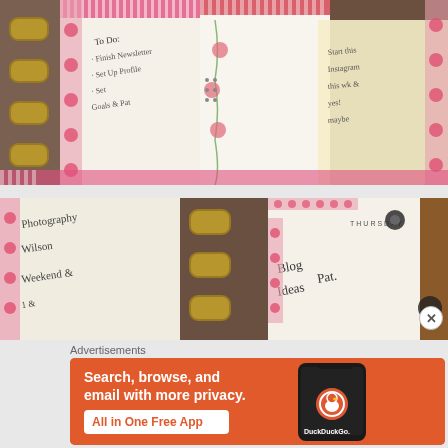[Figure (photo): Close-up photo of a decorative ring binder planner with pink and red washi tape, floral patterns, and handwritten to-do lists on white paper inserts.]
[Figure (photo): Second close-up photo of the same ring binder planner showing handwritten text including 'photography', 'Wilson', 'Weekend', 'THURSDAY', 'Blog Ideas', and 'Blog' with pink floral washi tape decorations.]
Advertisements
[Figure (infographic): DuckDuckGo advertisement banner with orange background. Text reads: 'Search, browse, and email with more privacy. All in One Free App' with a DuckDuckGo phone mockup on the right.]